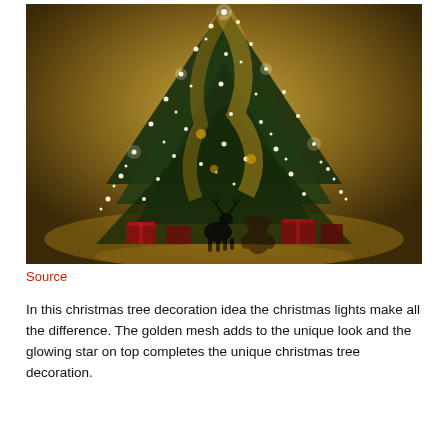[Figure (photo): A dimly lit Christmas tree decorated with warm white fairy lights, golden mesh ribbon, and ornaments. Silhouettes of a small reindeer figurine and a teddy bear sit among wrapped red gifts under the tree on a reflective floor.]
Source
In this christmas tree decoration idea the christmas lights make all the difference. The golden mesh adds to the unique look and the glowing star on top completes the unique christmas tree decoration.